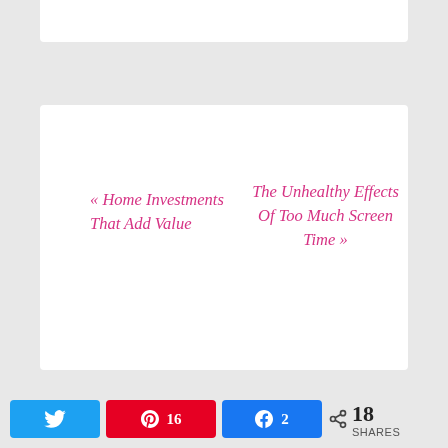« Home Investments That Add Value
The Unhealthy Effects Of Too Much Screen Time »
Leave a Reply
Your email address will not be published. Required fields are marked *